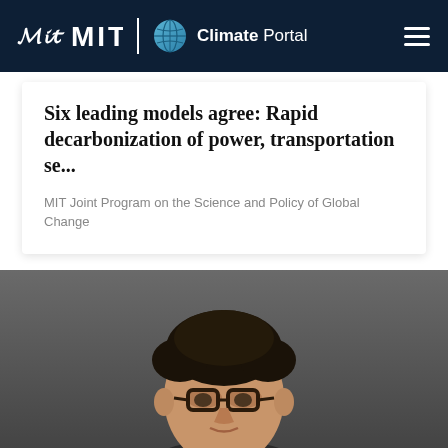MIT Climate Portal
Six leading models agree: Rapid decarbonization of power, transportation se...
MIT Joint Program on the Science and Policy of Global Change
[Figure (photo): Portrait photo of a young man with curly dark hair and glasses, photographed against a dark gray background, cropped at the shoulders]